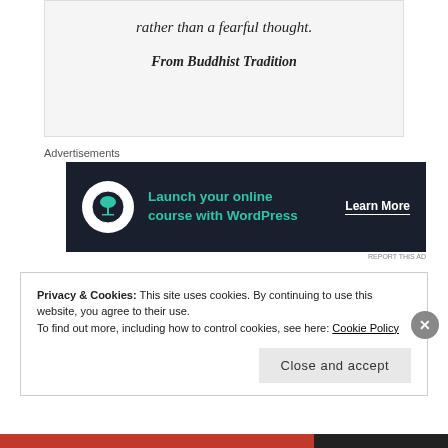rather than a fearful thought.
From Buddhist Tradition
Advertisements
[Figure (infographic): Dark advertisement banner: bonsai tree icon, teal text 'Launch your online course with WordPress', white 'Learn More' link]
I'm not a Buddhist, but I repeated these words to myself
Privacy & Cookies: This site uses cookies. By continuing to use this website, you agree to their use.
To find out more, including how to control cookies, see here: Cookie Policy
Close and accept